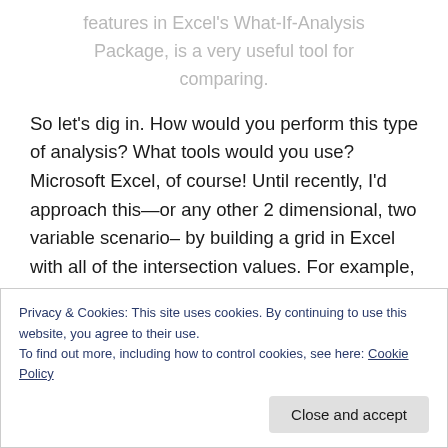features in Excel's What-If-Analysis Package, is a very useful tool for comparing.
So let's dig in. How would you perform this type of analysis? What tools would you use? Microsoft Excel, of course! Until recently, I'd approach this—or any other 2 dimensional, two variable scenario– by building a grid in Excel with all of the intersection values. For example, I might look at an auto loan with six possible interest rates, 5% to 10%, and five different possible terms, ranging from
Privacy & Cookies: This site uses cookies. By continuing to use this website, you agree to their use.
To find out more, including how to control cookies, see here: Cookie Policy
Close and accept